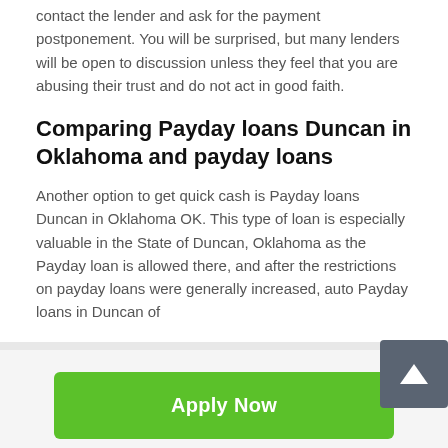contact the lender and ask for the payment postponement. You will be surprised, but many lenders will be open to discussion unless they feel that you are abusing their trust and do not act in good faith.
Comparing Payday loans Duncan in Oklahoma and payday loans
Another option to get quick cash is Payday loans Duncan in Oklahoma OK. This type of loan is especially valuable in the State of Duncan, Oklahoma as the Payday loan is allowed there, and after the restrictions on payday loans were generally increased, auto Payday loans in Duncan of
Apply Now
Applying does NOT affect your credit score!
No credit check to apply.